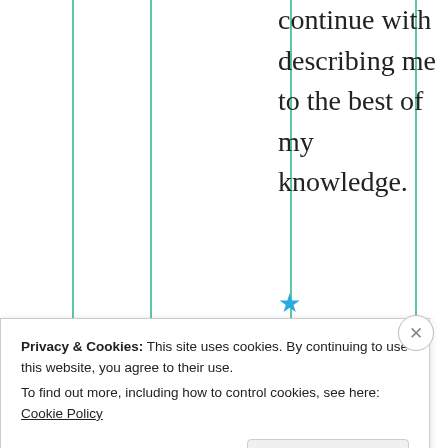continue with describing me to the best of my knowledge.
★ Liked by 1 person
Ju
Privacy & Cookies: This site uses cookies. By continuing to use this website, you agree to their use. To find out more, including how to control cookies, see here: Cookie Policy
Close and accept